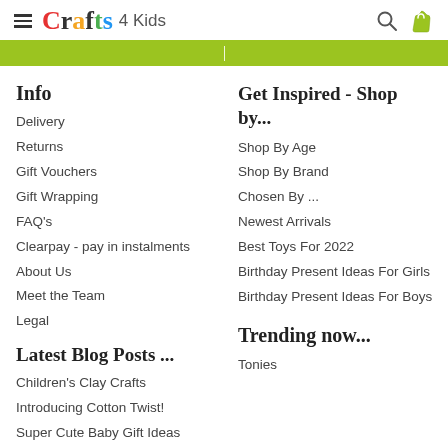Crafts 4 Kids
Info
Delivery
Returns
Gift Vouchers
Gift Wrapping
FAQ's
Clearpay - pay in instalments
About Us
Meet the Team
Legal
Latest Blog Posts ...
Children's Clay Crafts
Introducing Cotton Twist!
Super Cute Baby Gift Ideas
Get Inspired - Shop by...
Shop By Age
Shop By Brand
Chosen By ...
Newest Arrivals
Best Toys For 2022
Birthday Present Ideas For Girls
Birthday Present Ideas For Boys
Trending now...
Tonies